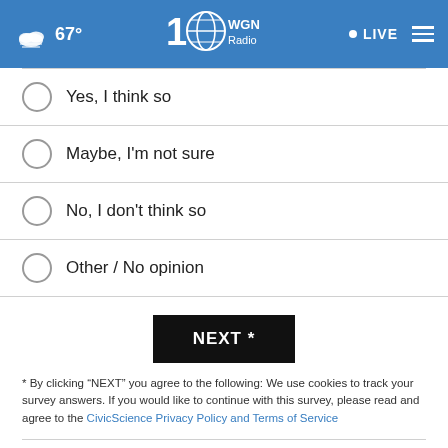67° WGN Radio LIVE
Yes, I think so
Maybe, I'm not sure
No, I don't think so
Other / No opinion
NEXT *
* By clicking "NEXT" you agree to the following: We use cookies to track your survey answers. If you would like to continue with this survey, please read and agree to the CivicScience Privacy Policy and Terms of Service
TOP STORIES ›
[Figure (photo): Advertisement banner: Payroll Tax Rebates - Your business may qualify for up to $26,000 per eligible employee in Employee Retention Credits.]